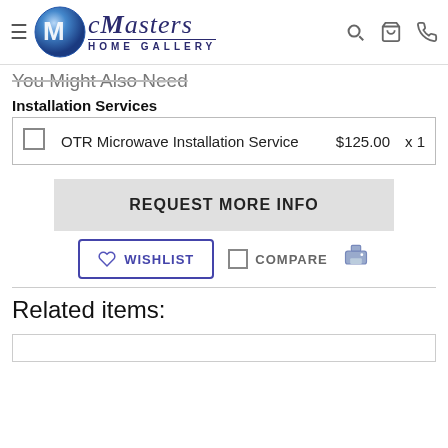[Figure (logo): McMasters Home Gallery logo with blue globe and stylized text]
You Might Also Need
Installation Services
|  | Service | Price | Qty |
| --- | --- | --- | --- |
| ☐ | OTR Microwave Installation Service | $125.00 | x 1 |
REQUEST MORE INFO
WISHLIST
COMPARE
Related items: